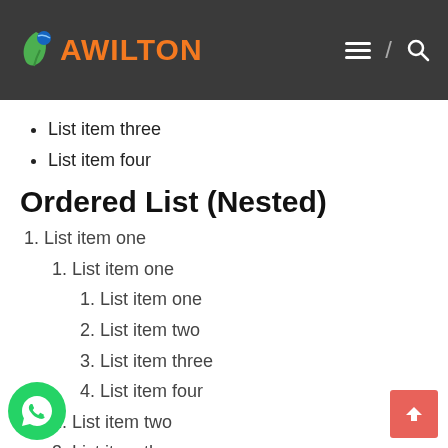AWILTON
List item three
List item four
Ordered List (Nested)
1. List item one
1. List item one (nested level 2)
1. List item one (nested level 3)
2. List item two (nested level 3)
3. List item three (nested level 3)
4. List item four (nested level 3)
2. List item two (nested level 2)
3. List item three (nested level 2)
4. List item four (nested level 2)
2. List item two
3. List item three